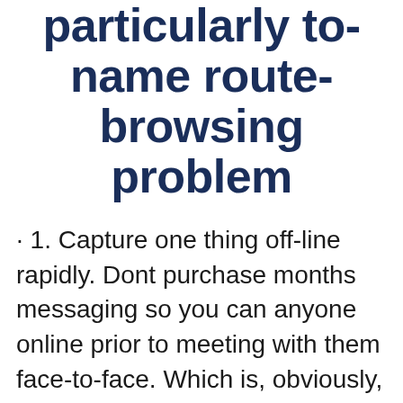particularly to-name route-browsing problem
· 1. Capture one thing off-line rapidly. Dont purchase months messaging so you can anyone online prior to meeting with them face-to-face. Which is, obviously, except if there are fundamental reason this is the only choice (e.grams. you’re already in numerous towns to have really works or a vacation) · During the Safety from Matchmaking Only 1 People simultaneously. You will find a pal whom